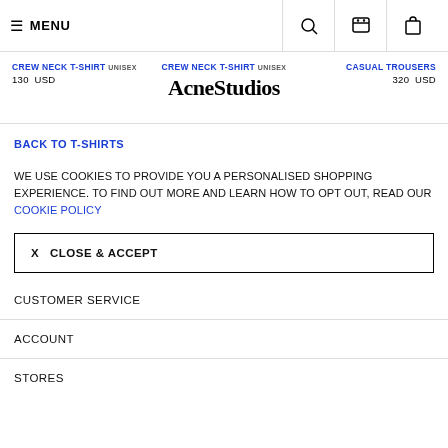≡ MENU
CREW NECK T-SHIRT UNISEX 130 USD | CREW NECK T-SHIRT UNISEX | CASUAL TROUSERS 320 USD
[Figure (logo): Acne Studios wordmark logo in bold serif font]
BACK TO T-SHIRTS
WE USE COOKIES TO PROVIDE YOU A PERSONALISED SHOPPING EXPERIENCE. TO FIND OUT MORE AND LEARN HOW TO OPT OUT, READ OUR COOKIE POLICY
X  CLOSE & ACCEPT
CUSTOMER SERVICE
ACCOUNT
STORES